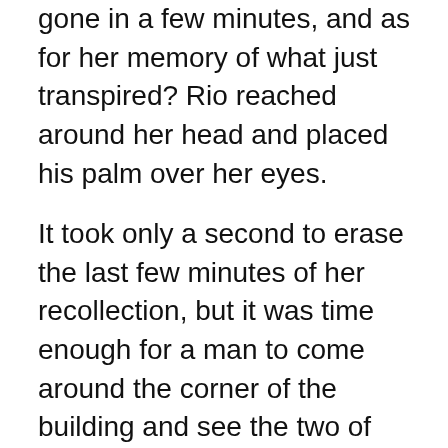gone in a few minutes, and as for her memory of what just transpired? Rio reached around her head and placed his palm over her eyes.
It took only a second to erase the last few minutes of her recollection, but it was time enough for a man to come around the corner of the building and see the two of them standing there.
"Hey! Was zur H?lle ist das? "
He was beefy and bald, and he didn't seem happy at all. Wiping his hands on a stained bar apron, he barked something at the whore in German – a stern command she jumped to